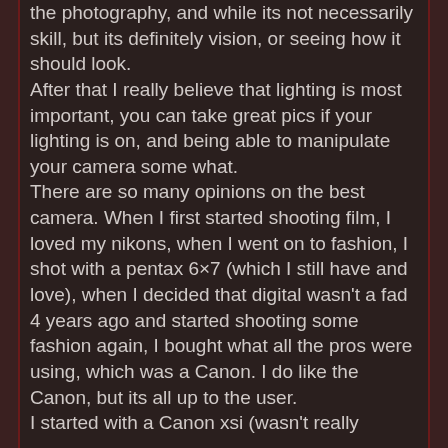the photography, and while its not necessarily skill, but its definitely vision, or seeing how it should look. After that I really believe that lighting is most important, you can take great pics if your lighting is on, and being able to manipulate your camera some what. There are so many opinions on the best camera. When I first started shooting film, I loved my nikons, when I went on to fashion, I shot with a pentax 6×7 (which I still have and love), when I decided that digital wasn't a fad 4 years ago and started shooting some fashion again, I bought what all the pros were using, which was a Canon. I do like the Canon, but its all up to the user. I started with a Canon xsi (wasn't really